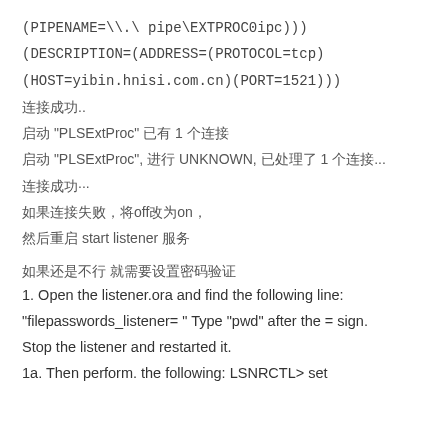(PIPENAME=\\.\pipe\EXTPROC0ipc)))
(DESCRIPTION=(ADDRESS=(PROTOCOL=tcp)
(HOST=yibin.hnisi.com.cn)(PORT=1521)))
连接成功..
启动 "PLSExtProc" 已有 1 个连接
启动 "PLSExtProc", 进行 UNKNOWN, 已处理了 1 个连接...
连接成功···
如果连接失败，将off改为on，
然后重启 start listener 服务
如果还是不行 就需要设置密码验证
1. Open the listener.ora and find the following line:
"filepasswords_listener= " Type "pwd" after the = sign.
Stop the listener and restarted it.
1a. Then perform. the following: LSNRCTL> set